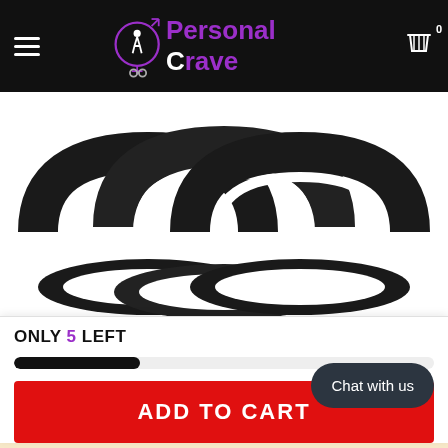[Figure (logo): Personal Crave website header with logo, hamburger menu, and cart icon on black background]
[Figure (photo): Three black rubber/silicone rings overlapping each other, product image on white background]
ONLY 5 LEFT
[Figure (infographic): Stock progress bar showing low inventory level (black fill, about 30% width)]
ADD TO CART
Buy with amazon pay
Chat with us